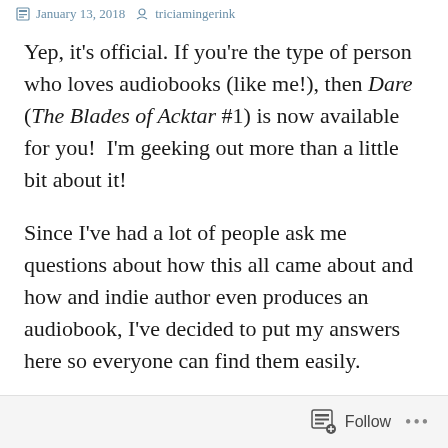January 13, 2018  triciamingerink
Yep, it's official. If you're the type of person who loves audiobooks (like me!), then Dare (The Blades of Acktar #1) is now available for you!  I'm geeking out more than a little bit about it!
Since I've had a lot of people ask me questions about how this all came about and how and indie author even produces an audiobook, I've decided to put my answers here so everyone can find them easily.
Follow  ...